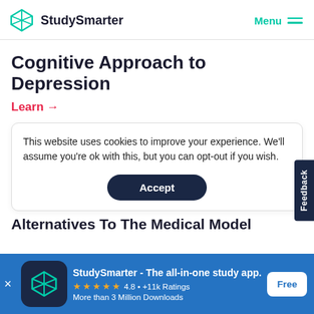[Figure (logo): StudySmarter logo with teal geometric diamond icon and text 'StudySmarter']
Cognitive Approach to Depression
Learn →
This website uses cookies to improve your experience. We'll assume you're ok with this, but you can opt-out if you wish.
Accept
Alternatives To The Medical Model
[Figure (logo): StudySmarter app icon - teal geometric diamond on dark navy background]
StudySmarter - The all-in-one study app.
★★★★★ 4.8 • +11k Ratings
More than 3 Million Downloads
Free